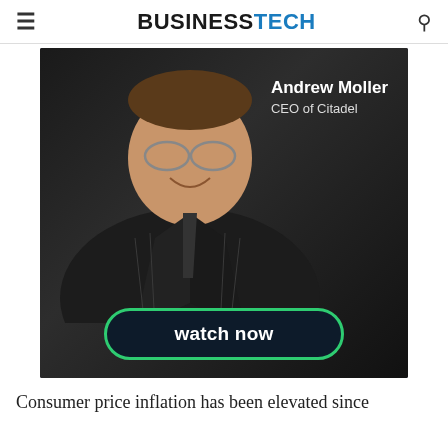BUSINESSTECH
[Figure (photo): Advertisement featuring Andrew Moller, CEO of Citadel, in a dark suit, smiling at camera. Text overlay reads 'Andrew Moller' and 'CEO of Citadel'. A green-bordered button at the bottom reads 'watch now'.]
Consumer price inflation has been elevated since